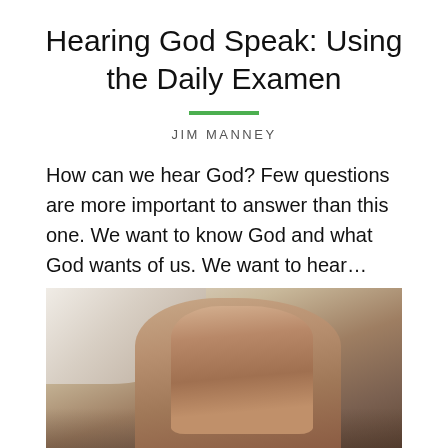Hearing God Speak: Using the Daily Examen
JIM MANNEY
How can we hear God? Few questions are more important to answer than this one. We want to know God and what God wants of us. We want to hear…
[Figure (photo): Photograph of clasped hands in prayer resting on an open book, with soft natural lighting from the left side.]